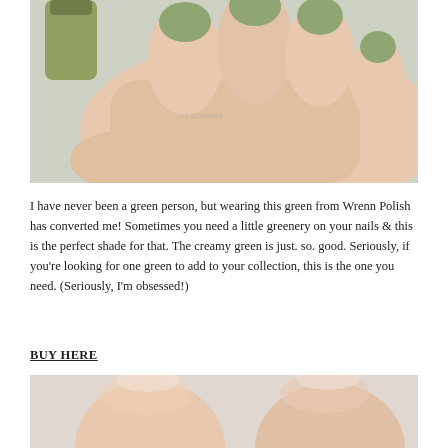[Figure (photo): Close-up photo of a hand holding a nail polish bottle, nails painted in sage/olive green color against a light marble background.]
I have never been a green person, but wearing this green from Wrenn Polish has converted me! Sometimes you need a little greenery on your nails & this is the perfect shade for that. The creamy green is just. so. good. Seriously, if you're looking for one green to add to your collection, this is the one you need. (Seriously, I'm obsessed!)
BUY HERE
[Figure (photo): Close-up photo of fingertips/fingers against a light background, nails appear bare or lightly painted.]